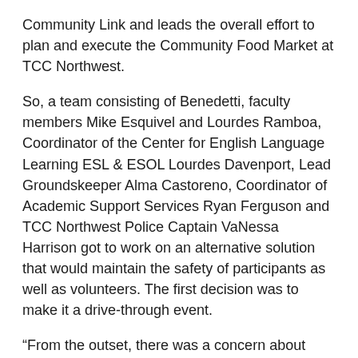Community Link and leads the overall effort to plan and execute the Community Food Market at TCC Northwest.
So, a team consisting of Benedetti, faculty members Mike Esquivel and Lourdes Ramboa, Coordinator of the Center for English Language Learning ESL & ESOL Lourdes Davenport, Lead Groundskeeper Alma Castoreno, Coordinator of Academic Support Services Ryan Ferguson and TCC Northwest Police Captain VaNessa Harrison got to work on an alternative solution that would maintain the safety of participants as well as volunteers. The first decision was to make it a drive-through event.
“From the outset, there was a concern about how to do this safely,” said Esquivel, who teaches in the Logistics and Supply Chain Management program. He said the group knew they would need personal